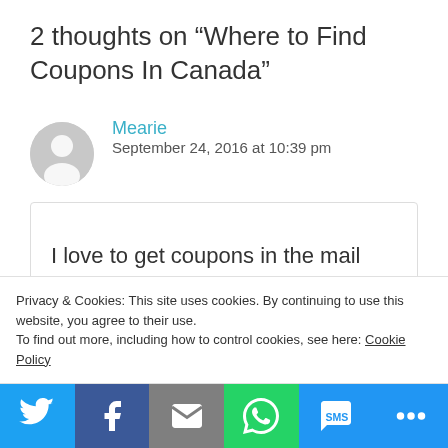2 thoughts on “Where to Find Coupons In Canada”
Mearie
September 24, 2016 at 10:39 pm
I love to get coupons in the mail because I
Privacy & Cookies: This site uses cookies. By continuing to use this website, you agree to their use.
To find out more, including how to control cookies, see here: Cookie Policy
[Figure (infographic): Social share bar with Twitter, Facebook, Email, WhatsApp, SMS, and More buttons]